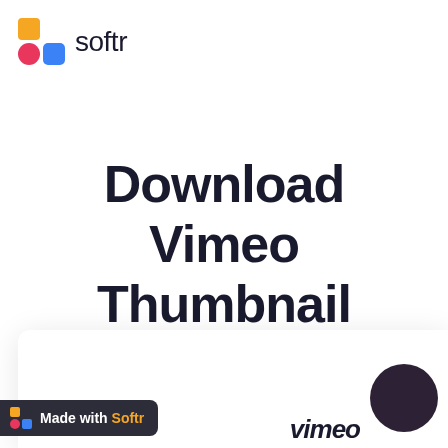[Figure (logo): Softr logo with colored squares (orange square top-left, pink circle bottom-left, blue square bottom-right) and 'softr' wordmark in dark text]
Download Vimeo Thumbnail
Video URL
paste your vimeo video url
[Figure (logo): Vimeo logo in dark italic text with a dark purple circle]
[Figure (logo): Made with Softr badge - dark background with Softr colored squares icon and text 'Made with Softr' where Softr is in orange]